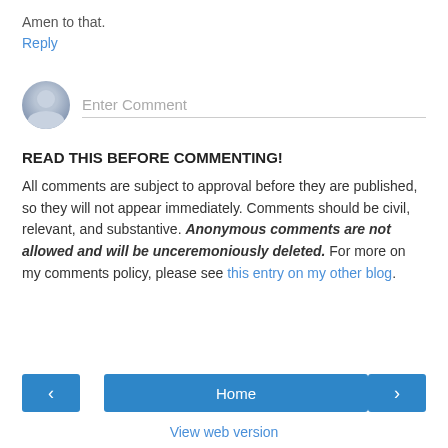Amen to that.
Reply
[Figure (illustration): Gray circular user avatar icon with silhouette of head and shoulders]
Enter Comment
READ THIS BEFORE COMMENTING!
All comments are subject to approval before they are published, so they will not appear immediately. Comments should be civil, relevant, and substantive. Anonymous comments are not allowed and will be unceremoniously deleted. For more on my comments policy, please see this entry on my other blog.
‹
Home
›
View web version